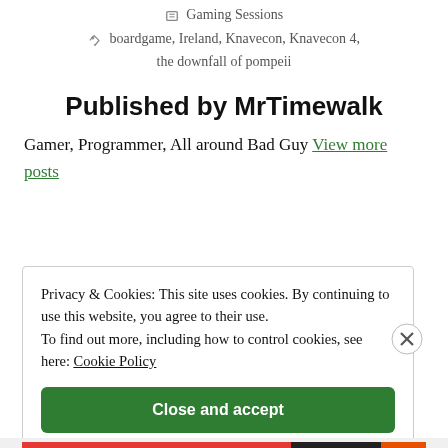Gaming Sessions
boardgame, Ireland, Knavecon, Knavecon 4, the downfall of pompeii
Published by MrTimewalk
Gamer, Programmer, All around Bad Guy View more posts
Privacy & Cookies: This site uses cookies. By continuing to use this website, you agree to their use. To find out more, including how to control cookies, see here: Cookie Policy
Close and accept